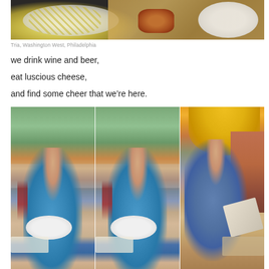[Figure (photo): Top photo showing chips/crackers on a white plate and a wooden serving board with bread and cheese on a dark surface, at Tria restaurant]
Tria, Washington West, Philadelphia
we drink wine and beer,
eat luscious cheese,
and find some cheer that we're here.
[Figure (photo): Three photos side by side: two of a woman in a teal floral dress sitting at an outdoor restaurant table with a glass of red wine and a white plate; one of a man in a blue shirt sitting at an outdoor table under a yellow umbrella, reading a menu]